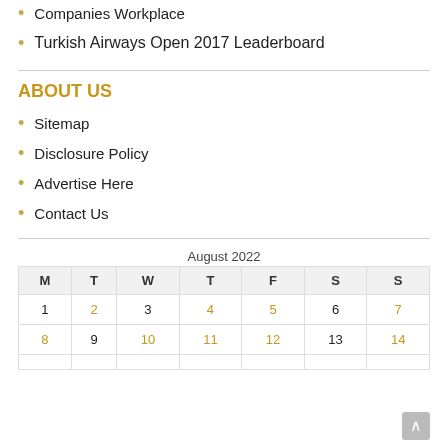Companies Workplace
Turkish Airways Open 2017 Leaderboard
ABOUT US
Sitemap
Disclosure Policy
Advertise Here
Contact Us
August 2022
| M | T | W | T | F | S | S |
| --- | --- | --- | --- | --- | --- | --- |
| 1 | 2 | 3 | 4 | 5 | 6 | 7 |
| 8 | 9 | 10 | 11 | 12 | 13 | 14 |